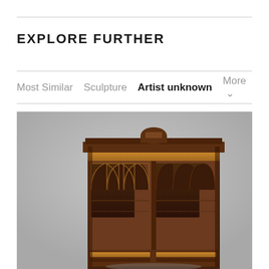EXPLORE FURTHER
Most Similar   Sculpture   Artist unknown   More
[Figure (photo): Photograph of an antique wooden bookcase cabinet with Gothic arch glazed doors on a light grey background. The cabinet features ornate carved details at the top, two pairs of arched glass panels on each door revealing interior shelves, and decorative inlaid wood panels near the base.]